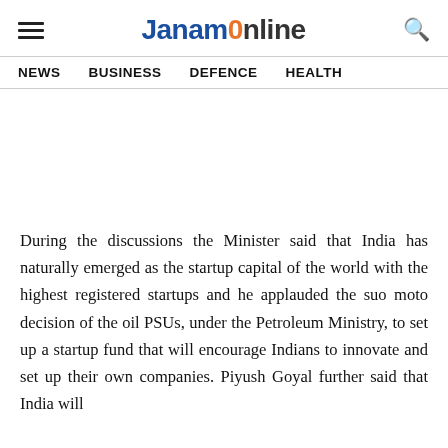JanamOnline
NEWS   BUSINESS   DEFENCE   HEALTH
During the discussions the Minister said that India has naturally emerged as the startup capital of the world with the highest registered startups and he applauded the suo moto decision of the oil PSUs, under the Petroleum Ministry, to set up a startup fund that will encourage Indians to innovate and set up their own companies. Piyush Goyal further said that India will